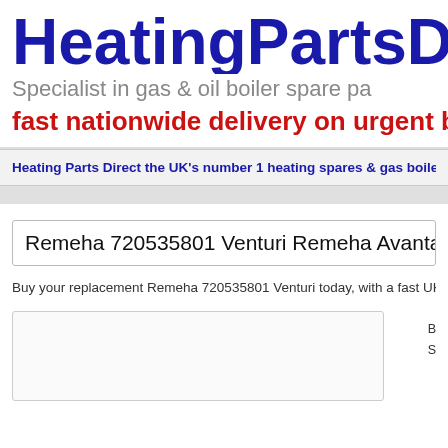HeatingPartsD
Specialist in gas & oil boiler spare pa
fast nationwide delivery on urgent bo
Heating Parts Direct the UK's number 1 heating spares & gas boiler parts
Remeha 720535801 Venturi Remeha Avanta Plus Syste
Buy your replacement Remeha 720535801 Venturi today, with a fast UK deliver